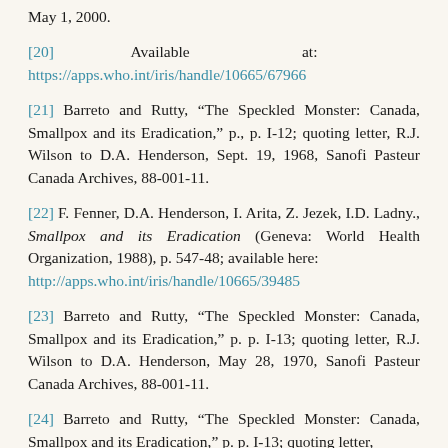May 1, 2000.
[20] Available at: https://apps.who.int/iris/handle/10665/67966
[21] Barreto and Rutty, “The Speckled Monster: Canada, Smallpox and its Eradication,” p., p. I-12; quoting letter, R.J. Wilson to D.A. Henderson, Sept. 19, 1968, Sanofi Pasteur Canada Archives, 88-001-11.
[22] F. Fenner, D.A. Henderson, I. Arita, Z. Jezek, I.D. Ladny., Smallpox and its Eradication (Geneva: World Health Organization, 1988), p. 547-48; available here: http://apps.who.int/iris/handle/10665/39485
[23] Barreto and Rutty, “The Speckled Monster: Canada, Smallpox and its Eradication,” p. p. I-13; quoting letter, R.J. Wilson to D.A. Henderson, May 28, 1970, Sanofi Pasteur Canada Archives, 88-001-11.
[24] Barreto and Rutty, “The Speckled Monster: Canada, Smallpox and its Eradication,” p. p. I-13; quoting letter,